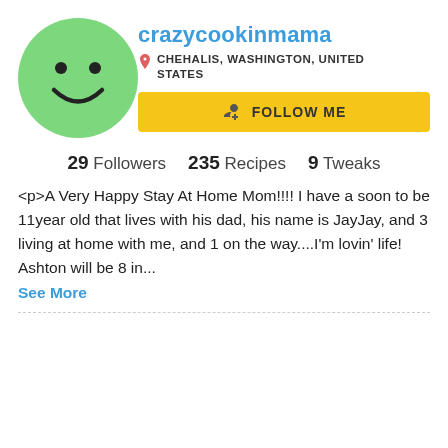[Figure (illustration): Green circle avatar with a simple smiley face (two black dot eyes and a curved smile).]
crazycookinmama
CHEHALIS, WASHINGTON, UNITED STATES
FOLLOW ME
29 Followers   235 Recipes   9 Tweaks
<p>A Very Happy Stay At Home Mom!!!! I have a soon to be 11year old that lives with his dad, his name is JayJay, and 3 living at home with me, and 1 on the way....I'm lovin' life! Ashton will be 8 in...
See More